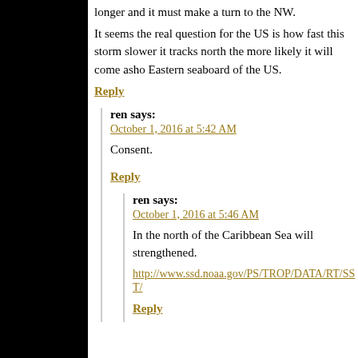longer and it must make a turn to the NW.
It seems the real question for the US is how fast this storm slower it tracks north the more likely it will come ashore Eastern seaboard of the US.
Reply
ren says:
October 1, 2016 at 5:42 AM
Consent.
Reply
ren says:
October 1, 2016 at 5:46 AM
In the north of the Caribbean Sea will strengthened.
http://www.ssd.noaa.gov/PS/TROP/DATA/RT/SST/
Reply